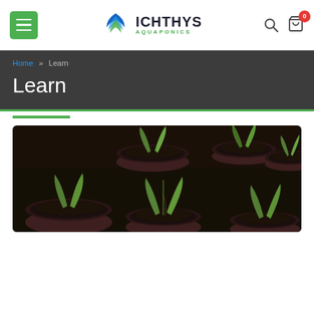Ichthys Aquaponics — navigation bar with menu button, logo, search icon, cart icon (0 items)
Home » Learn | Learn
[Figure (photo): Overhead close-up photo of small seedlings with two cotyledon leaves growing in round brown plastic pots filled with dark soil. Multiple seedlings visible across the frame.]